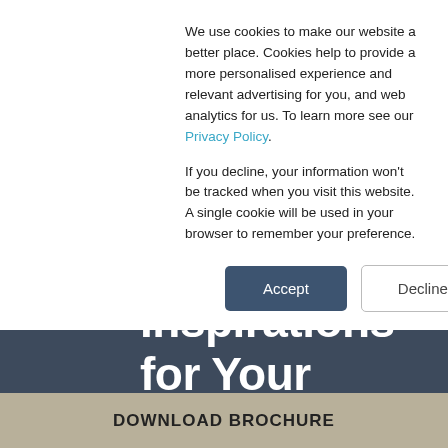We use cookies to make our website a better place. Cookies help to provide a more personalised experience and relevant advertising for you, and web analytics for us. To learn more see our Privacy Policy.
If you decline, your information won't be tracked when you visit this website. A single cookie will be used in your browser to remember your preference.
Accept
Decline
Inspirations for Your Home
Inspiration
[Figure (photo): Interior home inspiration photo strip showing shelving and home decor items]
DOWNLOAD BROCHURE